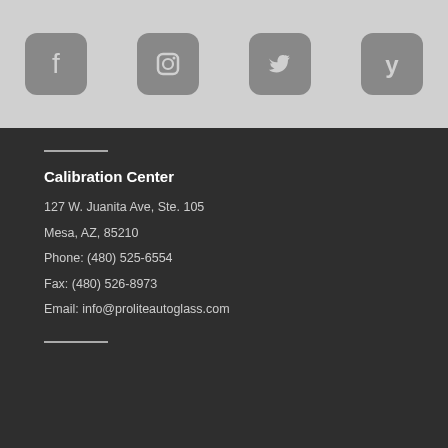[Figure (illustration): Four social media icon buttons (Facebook, Instagram, Twitter, Yelp) displayed in rounded square grey boxes on a light grey background.]
Calibration Center
127 W. Juanita Ave, Ste. 105
Mesa, AZ, 85210
Phone: (480) 525-6554
Fax: (480) 526-8973
Email: info@proliteautoglass.com